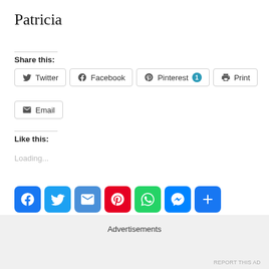Patricia
Share this:
[Figure (screenshot): Social share buttons: Twitter, Facebook, Pinterest (with badge 1), Print, Email]
Like this:
Loading...
[Figure (screenshot): Social media icon buttons: Facebook, Twitter, Email, Pinterest, WhatsApp, Messenger, Share more]
Advertisements